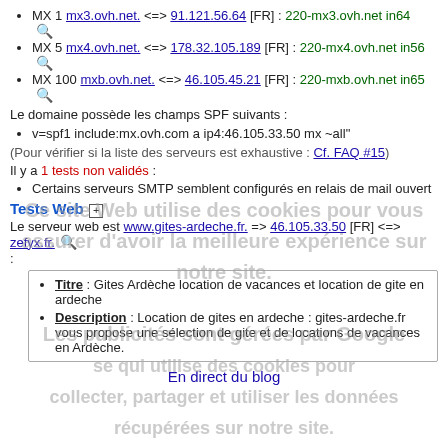MX 1 mx3.ovh.net. <=> 91.121.56.64 [FR] : 220-mx3.ovh.net in64
MX 5 mx4.ovh.net. <=> 178.32.105.189 [FR] : 220-mx4.ovh.net in56
MX 100 mxb.ovh.net. <=> 46.105.45.21 [FR] : 220-mxb.ovh.net in65
Le domaine possède les champs SPF suivants :
v=spf1 include:mx.ovh.com a ip4:46.105.33.50 mx ~all"
(Pour vérifier si la liste des serveurs est exhaustive : Cf. FAQ #15)
Il y a 1 tests non validés :
Certains serveurs SMTP semblent configurés en relais de mail ouvert
Tests Web
Le serveur web est www.gites-ardeche.fr. => 46.105.33.50 [FR] <=> zefyx.fr.
:
Titre : Gites Ardèche location de vacances et location de gite en ardeche
Description : Location de gites en ardeche : gites-ardeche.fr vous propose une sélection de gite et de locations de vacances en Ardèche.
En direct du blog